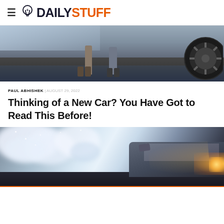DAILYSTUFF
[Figure (photo): Car dealership interior scene showing two people standing near a car, viewed from behind, with shiny dark floor and a car wheel visible on the right.]
PAUL ABHISHEK | AUGUST 29, 2022
Thinking of a New Car? You Have Got to Read This Before!
[Figure (photo): A car driving through a snowy blizzard scene with dramatic blue-white snow clouds and the car headlight visible on the right side.]